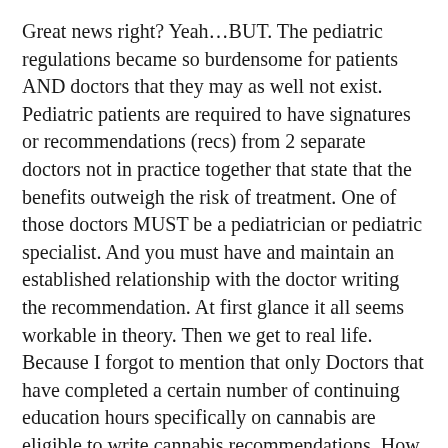Great news right? Yeah…BUT. The pediatric regulations became so burdensome for patients AND doctors that they may as well not exist. Pediatric patients are required to have signatures or recommendations (recs) from 2 separate doctors not in practice together that state that the benefits outweigh the risk of treatment. One of those doctors MUST be a pediatrician or pediatric specialist. And you must have and maintain an established relationship with the doctor writing the recommendation. At first glance it all seems workable in theory. Then we get to real life. Because I forgot to mention that only Doctors that have completed a certain number of continuing education hours specifically on cannabis are eligible to write cannabis recommendations. How many pediatric specialists do you think are completing those continuing education hours on cannabis?
I know several pediatric patients, us included, who lobbied our doctors, long time pediatricians and specialists. We put together folders of information, we painstakingly presented